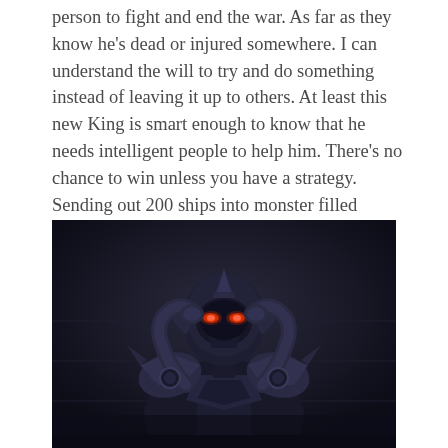person to fight and end the war. As far as they know he's dead or injured somewhere. I can understand the will to try and do something instead of leaving it up to others. At least this new King is smart enough to know that he needs intelligent people to help him. There's no chance to win unless you have a strategy. Sending out 200 ships into monster filled waters is not a strategy, it is suicide.
[Figure (illustration): Animated/cartoon style armored dark character (villain or warrior) with glowing red eyes, dark armor with shoulder pads and circular joints, hands raised to head, dark background]